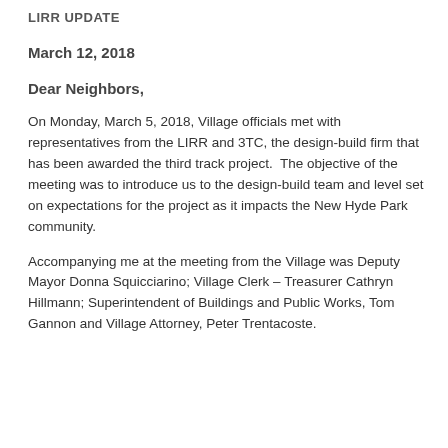LIRR UPDATE
March 12, 2018
Dear Neighbors,
On Monday, March 5, 2018, Village officials met with representatives from the LIRR and 3TC, the design-build firm that has been awarded the third track project.  The objective of the meeting was to introduce us to the design-build team and level set on expectations for the project as it impacts the New Hyde Park community.
Accompanying me at the meeting from the Village was Deputy Mayor Donna Squicciarino; Village Clerk – Treasurer Cathryn Hillmann; Superintendent of Buildings and Public Works, Tom Gannon and Village Attorney, Peter Trentacoste.